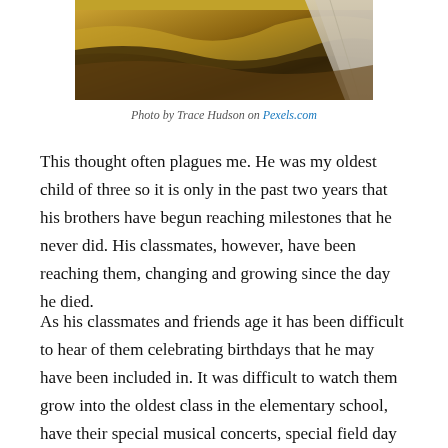[Figure (photo): Aerial or landscape photo showing dry golden/brown grassy terrain with a road visible at the right edge, taken in arid conditions]
Photo by Trace Hudson on Pexels.com
This thought often plagues me. He was my oldest child of three so it is only in the past two years that his brothers have begun reaching milestones that he never did. His classmates, however, have been reaching them, changing and growing since the day he died.
As his classmates and friends age it has been difficult to hear of them celebrating birthdays that he may have been included in. It was difficult to watch them grow into the oldest class in the elementary school, have their special musical concerts, special field day events and